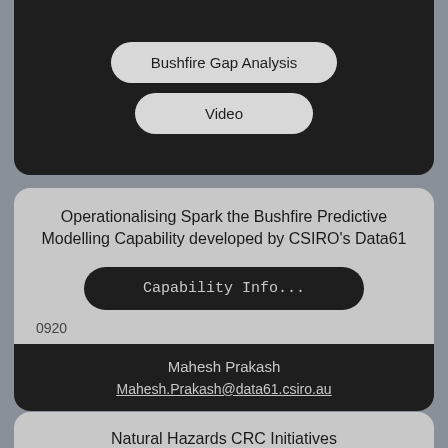[Figure (screenshot): Dark card with blue bar at top, containing two light rounded buttons: 'Bushfire Gap Analysis' and 'Video']
Operationalising Spark the Bushfire Predictive Modelling Capability developed by CSIRO's Data61
Capability Info...
0920
Mahesh Prakash
Mahesh.Prakash@data61.csiro.au
Natural Hazards CRC Initiatives
Capability Info...